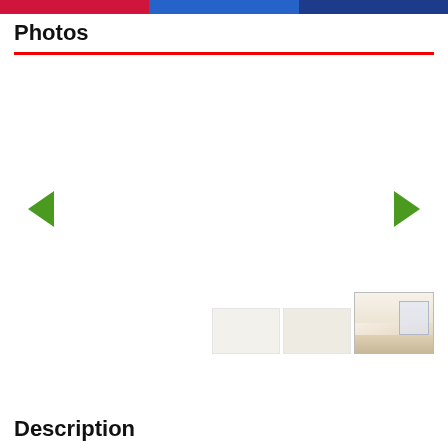Photos
[Figure (photo): Main photo carousel area with left and right green arrow navigation buttons. A thumbnail strip is partially visible at the bottom right showing a room interior photo (living room with light carpet and window).]
Description